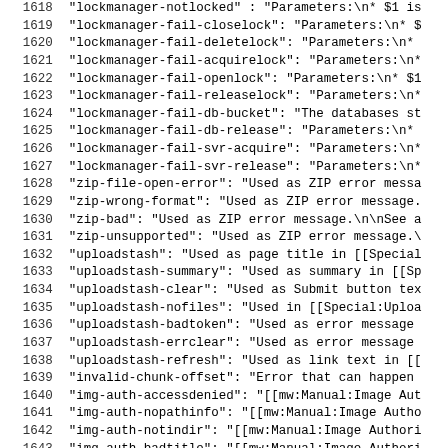Code listing lines 1618-1650 showing JSON key-value documentation entries for lockmanager, zip, uploadstash, img-auth, and other MediaWiki message keys.